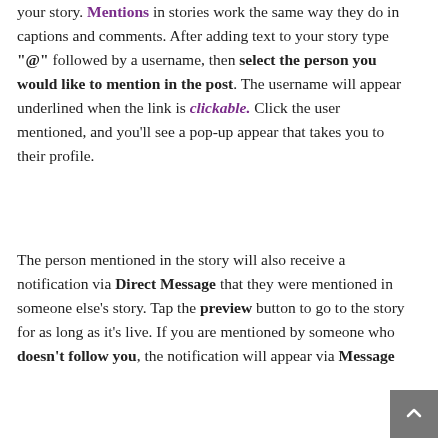your story. Mentions in stories work the same way they do in captions and comments. After adding text to your story type "@" followed by a username, then select the person you would like to mention in the post. The username will appear underlined when the link is clickable. Click the user mentioned, and you'll see a pop-up appear that takes you to their profile.
The person mentioned in the story will also receive a notification via Direct Message that they were mentioned in someone else's story. Tap the preview button to go to the story for as long as it's live. If you are mentioned by someone who doesn't follow you, the notification will appear via Message